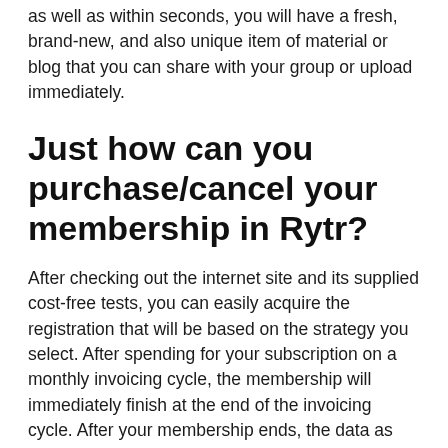as well as within seconds, you will have a fresh, brand-new, and also unique item of material or blog that you can share with your group or upload immediately.
Just how can you purchase/cancel your membership in Rytr?
After checking out the internet site and its supplied cost-free tests, you can easily acquire the registration that will be based on the strategy you select. After spending for your subscription on a monthly invoicing cycle, the membership will immediately finish at the end of the invoicing cycle. After your membership ends, the data as well as